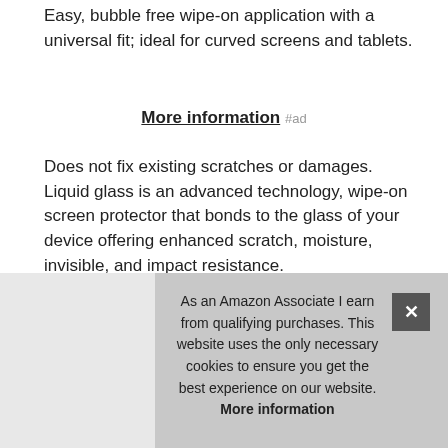Easy, bubble free wipe-on application with a universal fit; ideal for curved screens and tablets.
More information #ad
Does not fix existing scratches or damages. Liquid glass is an advanced technology, wipe-on screen protector that bonds to the glass of your device offering enhanced scratch, moisture, invisible, and impact resistance.
Universal: compatible with all mobile devices, cameras, phones, tablets and smart watches, touch screens. Made of silica dioxide si02 which is essentially microscopic particles of glass suspended in a liquid solution. Does not fix or repair existing...
As an Amazon Associate I earn from qualifying purchases. This website uses the only necessary cookies to ensure you get the best experience on our website. More information